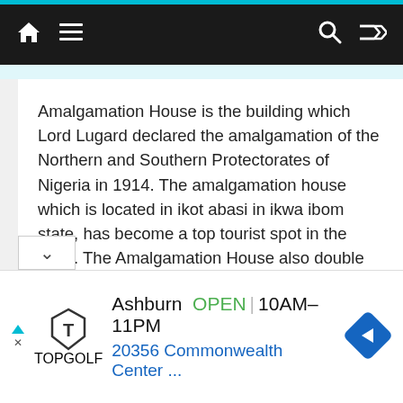Navigation bar with home, menu, search, and shuffle icons
Amalgamation House is the building which Lord Lugard declared the amalgamation of the Northern and Southern Protectorates of Nigeria in 1914. The amalgamation house which is located in ikot abasi in ikwa ibom state, has become a top tourist spot in the state. The Amalgamation House also double as the building in which General Olusegun Obasanjo (the former commanding officer of the Nigerian Army) and General Phillip Effiong of the Biafran Army signed
[Figure (screenshot): Advertisement banner for Topgolf Ashburn showing OPEN 10AM-11PM and address 20356 Commonwealth Center...]